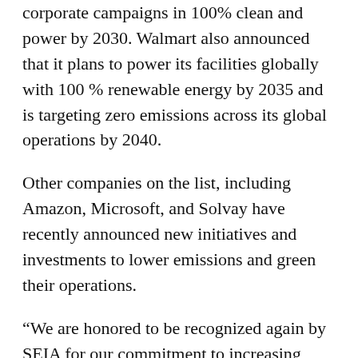corporate campaigns in 100% clean and power by 2030. Walmart also announced that it plans to power its facilities globally with 100 % renewable energy by 2035 and is targeting zero emissions across its global operations by 2040.
Other companies on the list, including Amazon, Microsoft, and Solvay have recently announced new initiatives and investments to lower emissions and green their operations.
“We are honored to be recognized again by SEIA for our commitment to increasing solar power in our operations,” said Pascal Chalvon Demersay, Solvay’s Chief Sustainability & Energy Officer. “Solar power plays a key role in our Solvay One Planet initiative, which aims to reduce our